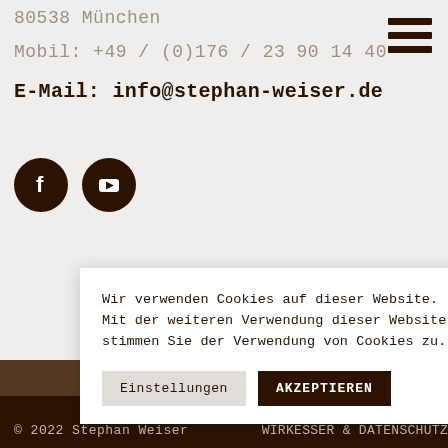80538 München
Mobil: +49 / (0)176 / 23 90 14 40
E-Mail: info@stephan-weiser.de
[Figure (illustration): Two circular social media icons (Facebook and YouTube) on dark brown/black background]
Wir verwenden Cookies auf dieser Website. Mit der weiteren Verwendung dieser Website stimmen Sie der Verwendung von Cookies zu.
Einstellungen
AKZEPTIEREN
© 2022 Stephan Weiser